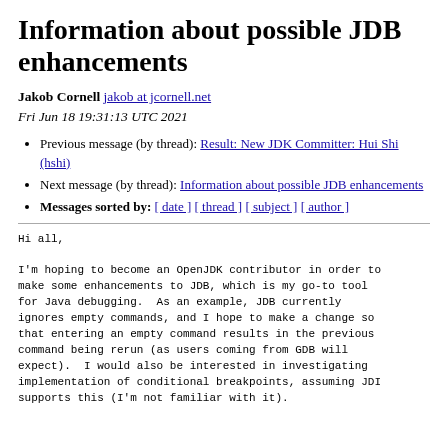Information about possible JDB enhancements
Jakob Cornell jakob at jcornell.net
Fri Jun 18 19:31:13 UTC 2021
Previous message (by thread): Result: New JDK Committer: Hui Shi (hshi)
Next message (by thread): Information about possible JDB enhancements
Messages sorted by: [ date ] [ thread ] [ subject ] [ author ]
Hi all,

I'm hoping to become an OpenJDK contributor in order to make some enhancements to JDB, which is my go-to tool for Java debugging.  As an example, JDB currently ignores empty commands, and I hope to make a change so that entering an empty command results in the previous command being rerun (as users coming from GDB will expect).  I would also be interested in investigating implementation of conditional breakpoints, assuming JDI supports this (I'm not familiar with it).